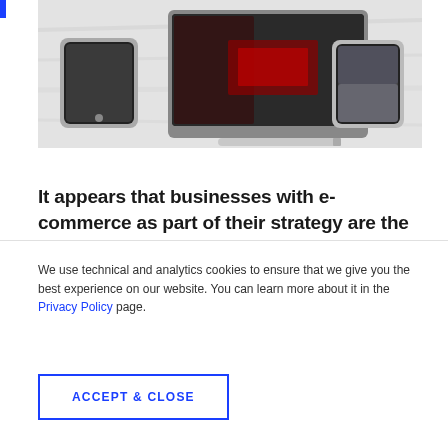[Figure (photo): Photo of electronic devices (tablet, smartphones, pen) on a white desk surface, viewed from above at an angle]
It appears that businesses with e-commerce as part of their strategy are the most resistant to turbulence in the economy. Let’s look at 20 good Shopify
We use technical and analytics cookies to ensure that we give you the best experience on our website. You can learn more about it in the Privacy Policy page.
Accept & close